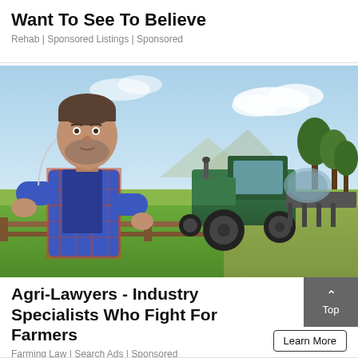Want To See To Believe
Rehab | Sponsored Listings | Sponsored
[Figure (photo): A man in a blue plaid flannel shirt leaning on a wooden fence in a farm field, with a green tractor and agricultural equipment in the background under a partly cloudy sky.]
Agri-Lawyers - Industry Specialists Who Fight For Farmers
Farming Law | Search Ads | Sponsored